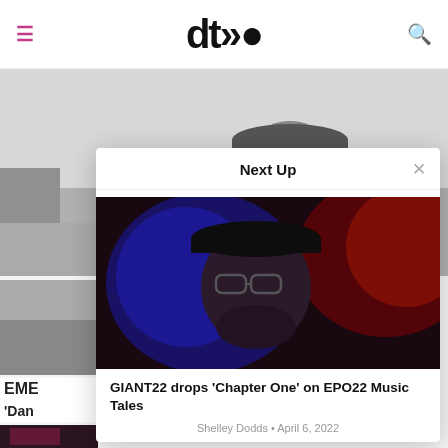dto (logo)
[Figure (photo): Black and white photo of a man wearing a cap, smiling, outdoors]
[Figure (photo): Dark photo of a person illuminated by blue and red light wearing glasses and a cap]
Next Up
GIANT22 drops ‘Chapter One’ on EPO22 Music Tales
Shelley Dodds • April 6, 2022